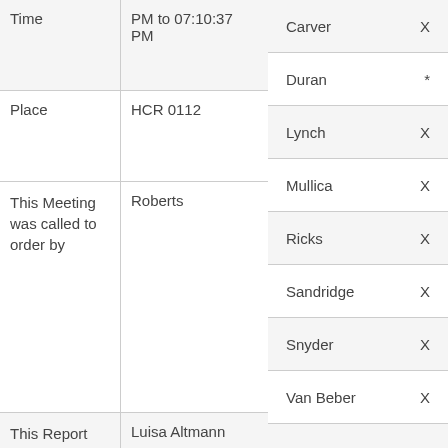| Field | Value |
| --- | --- |
| Time | PM to 07:10:37 PM |
| Place | HCR 0112 |
| This Meeting was called to order by | Roberts |
| This Report was | Luisa Altmann |
| Member | Present |
| --- | --- |
| Carver | X |
| Duran | * |
| Lynch | X |
| Mullica | X |
| Ricks | X |
| Sandridge | X |
| Snyder | X |
| Van Beber | X |
| Van Winkle | X |
| Sullivan | X |